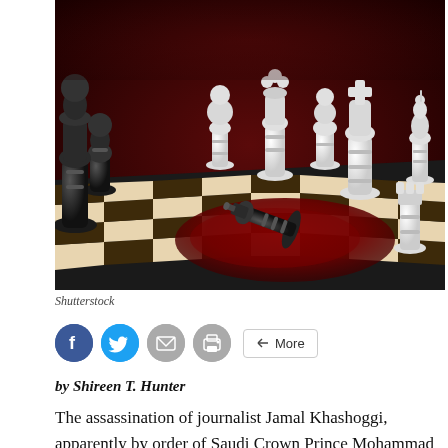[Figure (photo): Chess board with black and white pieces, a fallen black king piece lying on a pool of dark red blood in the center of the board. Dark dramatic lighting with deep red background.]
Shutterstock
by Shireen T. Hunter
The assassination of journalist Jamal Khashoggi, apparently by order of Saudi Crown Prince Mohammad bin Salman, has opened a debate on the